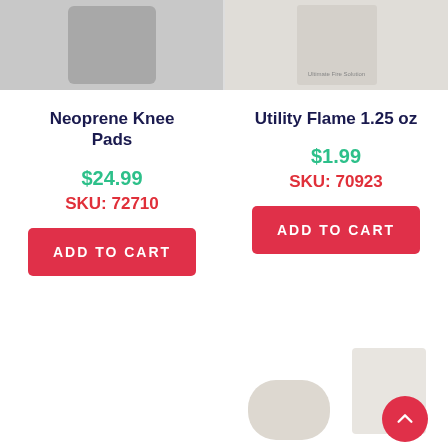[Figure (photo): Neoprene Knee Pads product image - gray/black knee pad on light gray background]
[Figure (photo): Utility Flame 1.25 oz product image - flame fuel container with 'Ultimate Fire Solution' text on light gray background]
Neoprene Knee Pads
$24.99
SKU: 72710
ADD TO CART
Utility Flame 1.25 oz
$1.99
SKU: 70923
ADD TO CART
[Figure (photo): Partial product images visible at bottom of page]